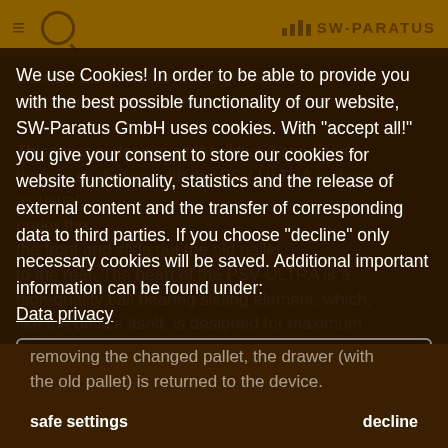SW-PARATUS
We use Cookies! In order to be able to provide you with the best possible functionality of our website, SW-Paratus GmbH uses cookies. With "accept all!" you give your consent to store our cookies for website functionality, statistics and the release of external content and the transfer of corresponding data to third parties. If you choose "decline" only necessary cookies will be saved. Additional important information can be found under: Data privacy
necessary   statistics   external content
allow all!
safe settings
decline